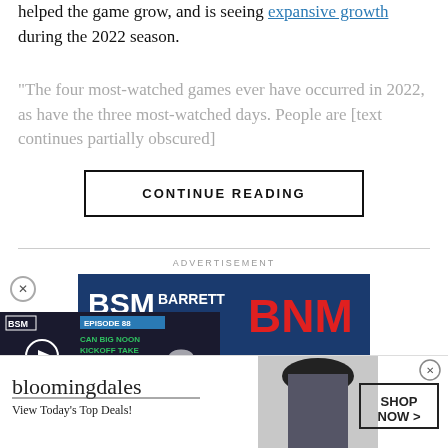helped the game grow, and is seeing expansive growth during the 2022 season.
"The four most-watched games ever have occurred in 2022, as have the three most-watched days. People are [further text partially obscured]
CONTINUE READING
ADVERTISEMENT
[Figure (screenshot): BSM Barrett Media BNM advertisement banner with blue background, BSM logo, BARRETT MEDIA text, and BNM in red letters]
[Figure (screenshot): BSM Media podcast popup overlay showing Episode 88: CAN BIG NOON KICKOFF TAKE DOWN COLLEGE GAMEDAY? with play button and number 8]
[Figure (screenshot): Bloomingdales advertisement: bloomingdales logo, View Today's Top Deals!, woman with hat photo, SHOP NOW button]